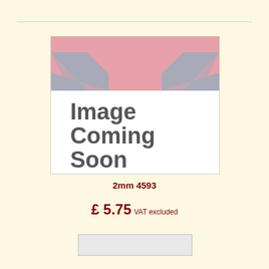[Figure (illustration): Image Coming Soon placeholder with stylized Union Jack flag in pink and grey tones at top, and bold grey text reading 'Image Coming Soon' below on white background]
2mm 4593
£ 5.75 VAT excluded